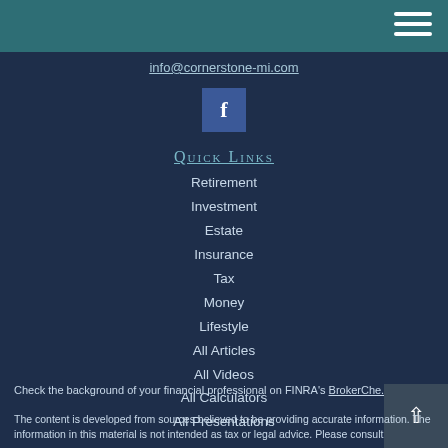info@cornerstone-mi.com
[Figure (logo): Facebook logo button - blue square with white 'f']
QUICK LINKS
Retirement
Investment
Estate
Insurance
Tax
Money
Lifestyle
All Articles
All Videos
All Calculators
All Presentations
Check the background of your financial professional on FINRA's BrokerChe...
The content is developed from sources believed to be providing accurate information. The information in this material is not intended as tax or legal advice. Please consult